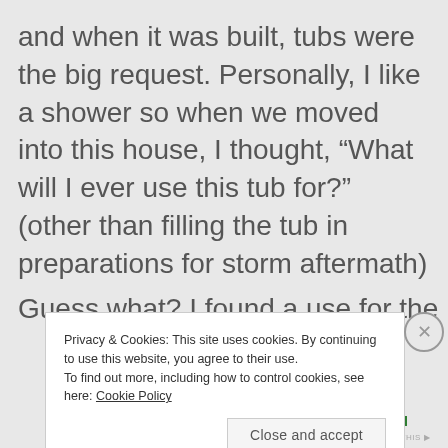and when it was built, tubs were the big request. Personally, I like a shower so when we moved into this house, I thought, “What will I ever use this tub for?” (other than filling the tub in preparations for storm aftermath)
Guess what? I found a use for the
Privacy & Cookies: This site uses cookies. By continuing to use this website, you agree to their use.
To find out more, including how to control cookies, see here: Cookie Policy
Close and accept